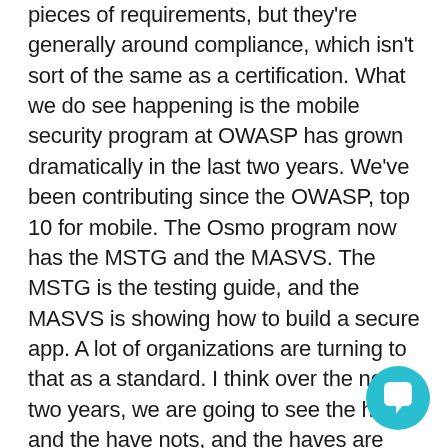pieces of requirements, but they're generally around compliance, which isn't sort of the same as a certification. What we do see happening is the mobile security program at OWASP has grown dramatically in the last two years. We've been contributing since the OWASP, top 10 for mobile. The Osmo program now has the MSTG and the MASVS. The MSTG is the testing guide, and the MASVS is showing how to build a secure app. A lot of organizations are turning to that as a standard. I think over the next two years, we are going to see the haves and the have nots, and the haves are going to be the ones that are going to use the MSTG as a testing standard. I am willing to bet lightly in Vegas that it won't necessarily become a minimum bar, but it will become a premium bar for organizations who want to show that they're safe and secure, and private. They'll use something like the MSTG and brand themselves that they're MSTG compliant in some way, shape, or form, I think that kind of help move the ball, and it can become a competitive differentiator potentially for their business.
[Figure (other): Teal circular chat bubble button icon in the bottom-right corner of the page]